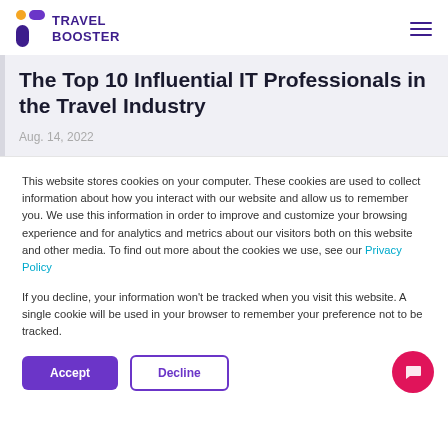TRAVEL BOOSTER
The Top 10 Influential IT Professionals in the Travel Industry
Aug. 14, 2022
This website stores cookies on your computer. These cookies are used to collect information about how you interact with our website and allow us to remember you. We use this information in order to improve and customize your browsing experience and for analytics and metrics about our visitors both on this website and other media. To find out more about the cookies we use, see our Privacy Policy
If you decline, your information won't be tracked when you visit this website. A single cookie will be used in your browser to remember your preference not to be tracked.